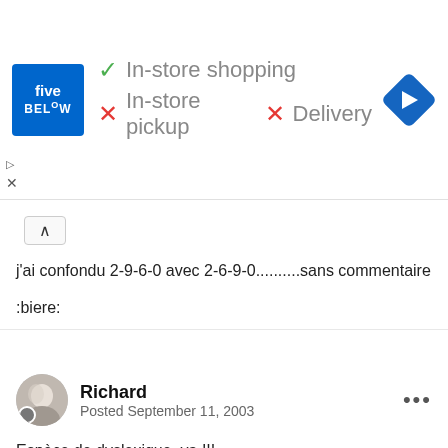[Figure (other): Five Below store advertisement banner showing In-store shopping (checkmark), In-store pickup (X), Delivery (X), with navigation icon]
j'ai confondu 2-9-6-0 avec 2-6-9-0..........sans commentaire
:biere:
Richard
Posted September 11, 2003
Espèce de dyslexique, va !!!
:biere:
:D